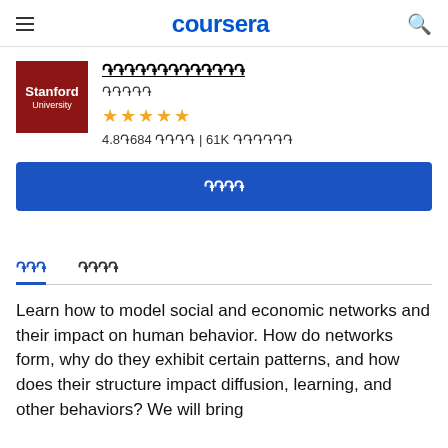coursera
[Figure (logo): Stanford University logo — dark red square with white text reading 'Stanford University']
🔲🔲🔲🔲🔲🔲🔲🔲🔲🔲🔲🔲🔲
🔲🔲🔲🔲🔲
★★★★★
4.8🔲684 🔲🔲🔲🔲 | 61K 🔲🔲🔲🔲🔲🔲
🔲🔲🔲🔲
🔲🔲🔲    🔲🔲🔲🔲
Learn how to model social and economic networks and their impact on human behavior. How do networks form, why do they exhibit certain patterns, and how does their structure impact diffusion, learning, and other behaviors? We will bring